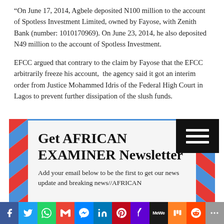“On June 17, 2014, Agbele deposited N100 million to the account of Spotless Investment Limited, owned by Fayose, with Zenith Bank (number: 1010170969). On June 23, 2014, he also deposited N49 million to the account of Spotless Investment.
EFCC argued that contrary to the claim by Fayose that the EFCC arbitrarily freeze his account, the agency said it got an interim order from Justice Mohammed Idris of the Federal High Court in Lagos to prevent further dissipation of the slush funds.
[Figure (other): Newsletter signup box with airmail-style striped border, hamburger menu icon, title 'Get AFRICAN EXAMINER Newsletter', and subtitle 'Add your email below to be the first to get our news update and breaking news//AFRICAN']
[Figure (infographic): Social media sharing bar with icons for Facebook, Twitter, WhatsApp, Gmail, Messenger, LinkedIn, Pinterest, Yahoo, MeWe, Mix, Reddit, and More]